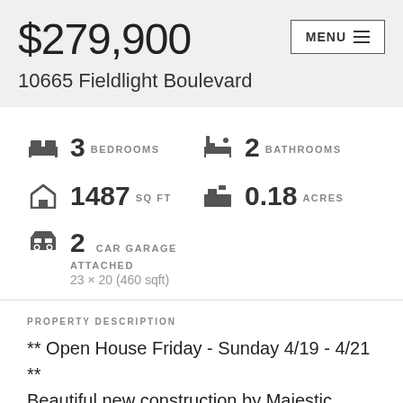$279,900
10665 Fieldlight Boulevard
3 BEDROOMS
2 BATHROOMS
1487 SQ FT
0.18 ACRES
2 CAR GARAGE
ATTACHED
23 × 20 (460 sqft)
PROPERTY DESCRIPTION
** Open House Friday - Sunday 4/19 - 4/21 **
Beautiful new construction by Majestic Homes